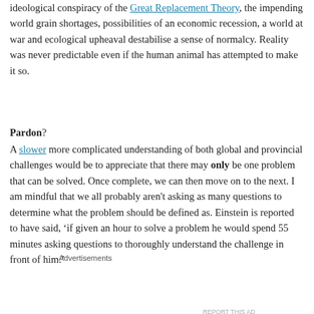ideological conspiracy of the Great Replacement Theory, the impending world grain shortages, possibilities of an economic recession, a world at war and ecological upheaval destabilise a sense of normalcy. Reality was never predictable even if the human animal has attempted to make it so.
Pardon?
A slower more complicated understanding of both global and provincial challenges would be to appreciate that there may only be one problem that can be solved. Once complete, we can then move on to the next. I am mindful that we all probably aren't asking as many questions to determine what the problem should be defined as. Einstein is reported to have said, ‘if given an hour to solve a problem he would spend 55 minutes asking questions to thoroughly understand the challenge in front of him.’
Advertisements
[Figure (other): WordPress.com advertisement banner reading 'Simplified pricing for everything you need.' with WordPress.com logo on gradient purple-blue background]